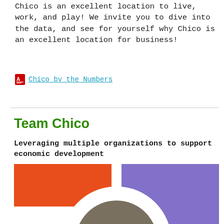Chico is an excellent location to live, work, and play!  We invite you to dive into the data, and see for yourself why Chico is an excellent location for business!
Chico by the Numbers
Team Chico
Leveraging multiple organizations to support economic development
[Figure (logo): Team Chico logo with orange left panel, purple right panel, and circular emblem in center showing 'chico' text]